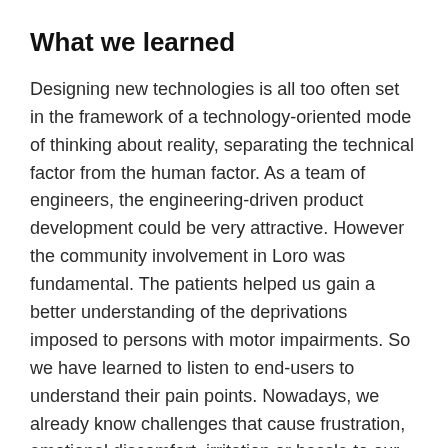What we learned
Designing new technologies is all too often set in the framework of a technology-oriented mode of thinking about reality, separating the technical factor from the human factor. As a team of engineers, the engineering-driven product development could be very attractive. However the community involvement in Loro was fundamental. The patients helped us gain a better understanding of the deprivations imposed to persons with motor impairments. So we have learned to listen to end-users to understand their pain points. Nowadays, we already know challenges that cause frustration, emotional discomfort, irritation or hassle to our potential customers, however this is a work in progress.
Designing a tool for patients suffering from ALS and other movement disabilities amounts to trying to alleviate a